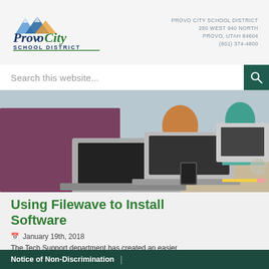[Figure (logo): Provo City School District logo with mountain graphic and green/blue text]
PROVO CITY SCHOOL DISTRICT
280 WEST 940 NORTH
PROVO, UTAH 84604
(801) 374-4800
Search this website...
[Figure (photo): Students sitting at desks using laptops in a classroom setting]
Using Filewave to Install Software
January 19th, 2018
The Tech Support department has created an easier...
Notice of Non-Discrimination